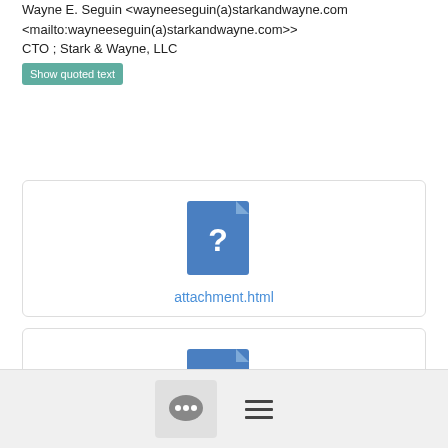Wayne E. Seguin <wayneeseguin(a)starkandwayne.com <mailto:wayneeseguin(a)starkandwayne.com>>
CTO ; Stark & Wayne, LLC
Show quoted text
[Figure (other): File attachment icon with question mark for file named attachment.html]
[Figure (other): File attachment icon with question mark for file named signature.asc]
[Figure (other): Bottom toolbar with chat bubble icon and hamburger menu icon]